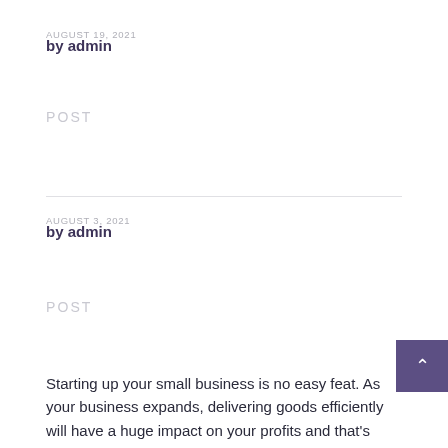AUGUST 19, 2021
by admin
POST
AUGUST 3, 2021
by admin
POST
Starting up your small business is no easy feat. As your business expands, delivering goods efficiently will have a huge impact on your profits and that's where a local